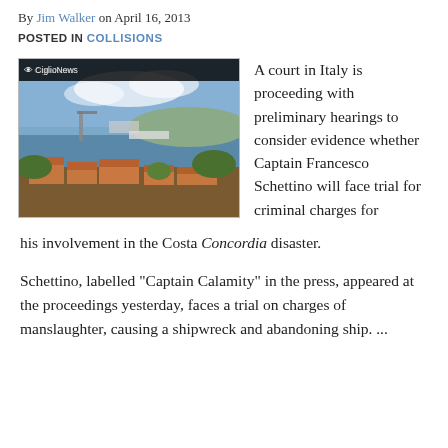By Jim Walker on April 16, 2013
POSTED IN COLLISIONS
[Figure (photo): Aerial/elevated view of coastal Italian town with terracotta rooftops, a harbor with ships and cranes visible in the background under a partly cloudy sky. CiglioNews watermark in top-left corner.]
A court in Italy is proceeding with preliminary hearings to consider evidence whether Captain Francesco Schettino will face trial for criminal charges for his involvement in the Costa Concordia disaster.
Schettino, labelled "Captain Calamity" in the press, appeared at the proceedings yesterday, faces a trial on charges of manslaughter, causing a shipwreck and abandoning ship. ...